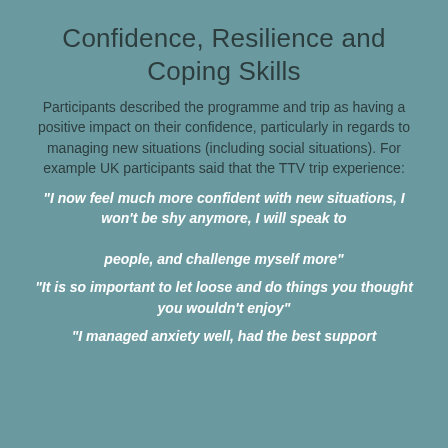Confidence, Resilience and Coping Skills
Participants described the programme and trip as having a positive impact on their confidence, particularly in regards to managing new situations (including social situations). For example UK participants said that the TTV trip experience:
"I now feel much more confident with new situations, I won't be shy anymore, I will speak to people, and challenge myself more"
"It is so important to let loose and do things you thought you wouldn't enjoy"
"I managed anxiety well, had the best support